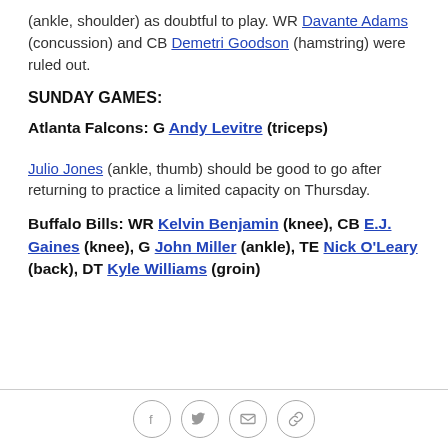(ankle, shoulder) as doubtful to play. WR Davante Adams (concussion) and CB Demetri Goodson (hamstring) were ruled out.
SUNDAY GAMES:
Atlanta Falcons: G Andy Levitre (triceps)
Julio Jones (ankle, thumb) should be good to go after returning to practice a limited capacity on Thursday.
Buffalo Bills: WR Kelvin Benjamin (knee), CB E.J. Gaines (knee), G John Miller (ankle), TE Nick O'Leary (back), DT Kyle Williams (groin)
Social share icons: Facebook, Twitter, Email, Link